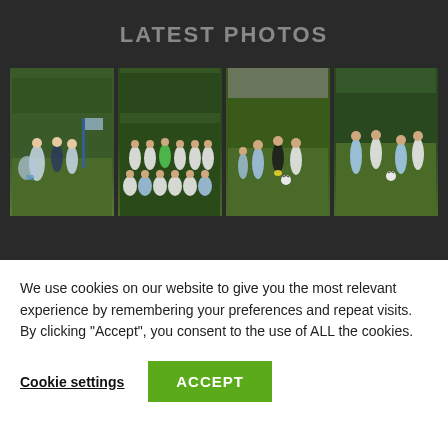LATEST PHOTOS
[Figure (photo): Four soccer/football match and team photos arranged in a horizontal row on a dark background. Photos show players on a green field, a team group photo, players during a match, and players in action.]
We use cookies on our website to give you the most relevant experience by remembering your preferences and repeat visits. By clicking “Accept”, you consent to the use of ALL the cookies.
Cookie settings
ACCEPT